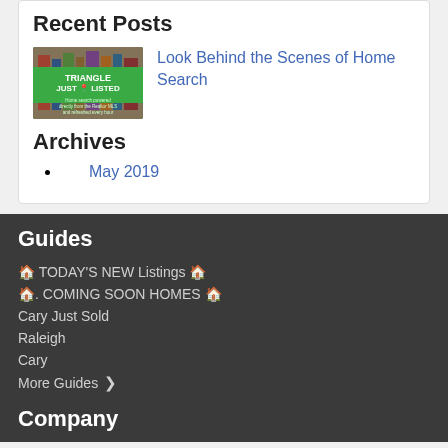Recent Posts
[Figure (photo): Triangle Just Listed logo thumbnail - green banner with text 'TRIANGLE JUST LISTED' and subtitle about home search powered directly from the Realtor MLS]
Look Behind the Scenes of Home Search
Archives
May 2019
Guides
🏠 TODAY'S NEW Listings 🏠
🏠. COMING SOON HOMES 🏠
Cary Just Sold
Raleigh
Cary
More Guides >
Company